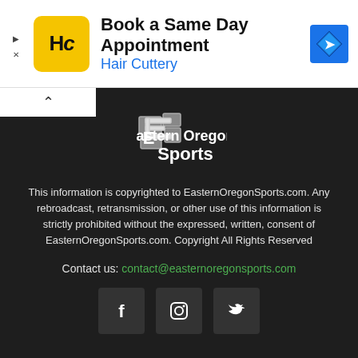[Figure (advertisement): Hair Cuttery advertisement banner with HC logo, text 'Book a Same Day Appointment', 'Hair Cuttery', and navigation icon]
[Figure (logo): Eastern Oregon Sports logo with stylized map/letter E icon in white on dark background]
This information is copyrighted to EasternOregonSports.com. Any rebroadcast, retransmission, or other use of this information is strictly prohibited without the expressed, written, consent of EasternOregonSports.com. Copyright All Rights Reserved
Contact us: contact@easternoregonsports.com
[Figure (other): Social media icons: Facebook, Instagram, Twitter]